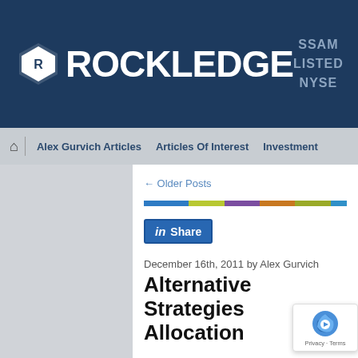[Figure (logo): Rockledge logo with hexagon icon and SSAM Listed NYSE text on dark blue header background]
Alex Gurvich Articles | Articles Of Interest | Investment
← Older Posts
[Figure (infographic): Horizontal color bar with segments: blue, yellow-green, purple, orange, olive, light blue]
[Figure (logo): LinkedIn Share button]
December 16th, 2011 by Alex Gurvich
Alternative Strategies Allocation
Last week my partner and I participated in the webinar about A... Investment strategies and how to position them in your portfo... discussed the types of alternative strategies that a...